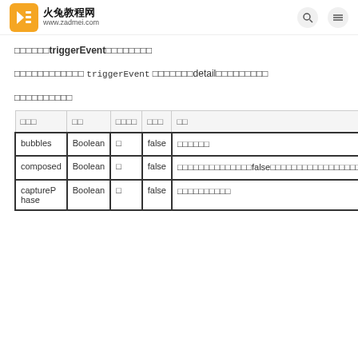火兔教程网 www.zadmei.com
如果你想要触发triggerEvent事件的话，那么
下面我们就来详细了解一下 triggerEvent 方法中的detail属性是什么意思
触发事件时的选项
| 属性名称 | 类型 | 是否必填 | 默认值 | 说明 |
| --- | --- | --- | --- | --- |
| bubbles | Boolean | 否 | false | 是否冒泡 |
| composed | Boolean | 否 | false | 事件是否可以穿越组件边界，为false时，事件将只能在引用组件的节点树上触发，不进入其他任何组件内部 |
| capturePhase | Boolean | 否 | false | 事件是否拥有捕获阶段 |